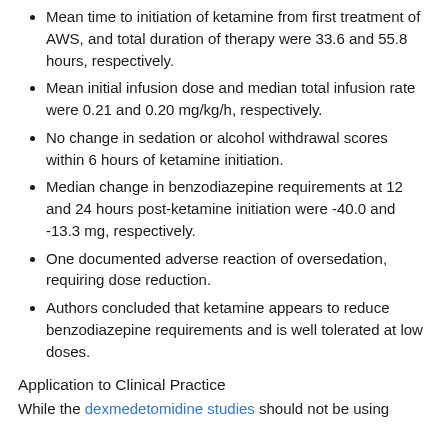Mean time to initiation of ketamine from first treatment of AWS, and total duration of therapy were 33.6 and 55.8 hours, respectively.
Mean initial infusion dose and median total infusion rate were 0.21 and 0.20 mg/kg/h, respectively.
No change in sedation or alcohol withdrawal scores within 6 hours of ketamine initiation.
Median change in benzodiazepine requirements at 12 and 24 hours post-ketamine initiation were -40.0 and -13.3 mg, respectively.
One documented adverse reaction of oversedation, requiring dose reduction.
Authors concluded that ketamine appears to reduce benzodiazepine requirements and is well tolerated at low doses.
Application to Clinical Practice
While the dexmedetomidine studies should not be using